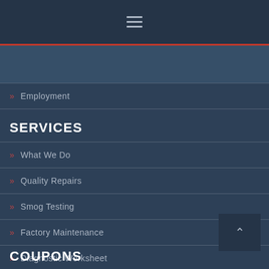≡ (navigation menu icon)
[Figure (photo): Partial image strip visible at top of content area]
» Employment
SERVICES
» What We Do
» Quality Repairs
» Smog Testing
» Factory Maintenance
» Diagnostic Worksheet
COUPONS